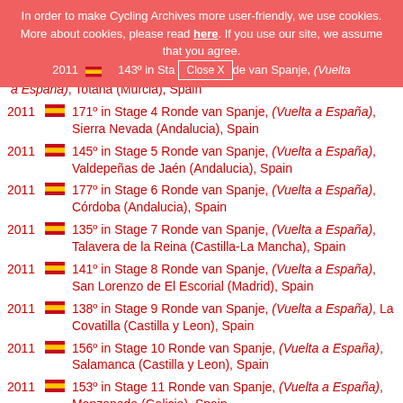In order to make Cycling Archives more user-friendly, we use cookies. More about cookies, please read here. If you use our site, we assume that you agree. [Close X]
2011 [ES] 143° in Stage 3 Ronde van Spanje, (Vuelta a España), Totana (Murcia), Spain
2011 [ES] 171° in Stage 4 Ronde van Spanje, (Vuelta a España), Sierra Nevada (Andalucia), Spain
2011 [ES] 145° in Stage 5 Ronde van Spanje, (Vuelta a España), Valdepeñas de Jaén (Andalucia), Spain
2011 [ES] 177° in Stage 6 Ronde van Spanje, (Vuelta a España), Córdoba (Andalucia), Spain
2011 [ES] 135° in Stage 7 Ronde van Spanje, (Vuelta a España), Talavera de la Reina (Castilla-La Mancha), Spain
2011 [ES] 141° in Stage 8 Ronde van Spanje, (Vuelta a España), San Lorenzo de El Escorial (Madrid), Spain
2011 [ES] 138° in Stage 9 Ronde van Spanje, (Vuelta a España), La Covatilla (Castilla y Leon), Spain
2011 [ES] 156° in Stage 10 Ronde van Spanje, (Vuelta a España), Salamanca (Castilla y Leon), Spain
2011 [ES] 153° in Stage 11 Ronde van Spanje, (Vuelta a España), Manzaneda (Galicia), Spain
2011 [ES] 144° in Stage 12 Ronde van Spanje, (Vuelta a España)...